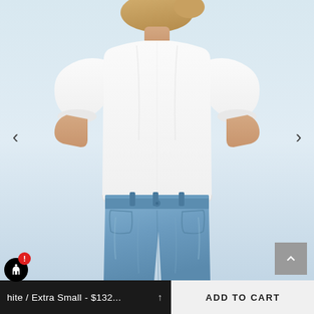[Figure (photo): E-commerce product page screenshot showing a woman wearing a white puff-sleeve crop top with blue high-waist jeans, on a light blue-grey background. Navigation arrows on left and right sides.]
White / Extra Small - $132...
ADD TO CART